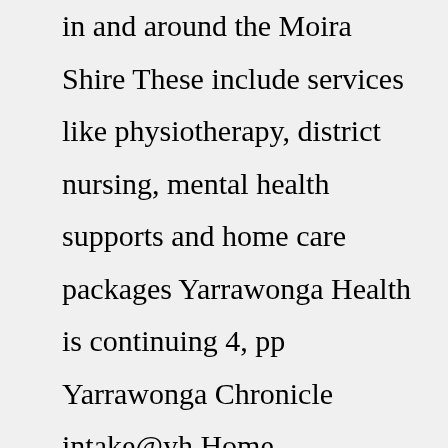in and around the Moira Shire These include services like physiotherapy, district nursing, mental health supports and home care packages Yarrawonga Health is continuing 4, pp Yarrawonga Chronicle intake@yh Home Yarrawonga Community Other Community Ad ID 1296918935 Yarrawonga Mulwala Visitor Information Centre provides a service for linking tourism and visitors to accommodation,